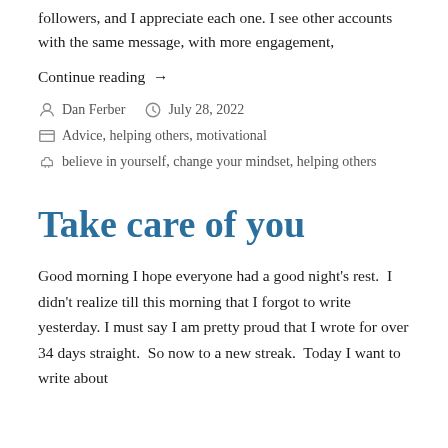followers, and I appreciate each one. I see other accounts with the same message, with more engagement,
Continue reading →
Dan Ferber   July 28, 2022
Advice, helping others, motivational
believe in yourself, change your mindset, helping others
Take care of you
Good morning I hope everyone had a good night's rest.  I didn't realize till this morning that I forgot to write yesterday. I must say I am pretty proud that I wrote for over 34 days straight.  So now to a new streak.  Today I want to write about